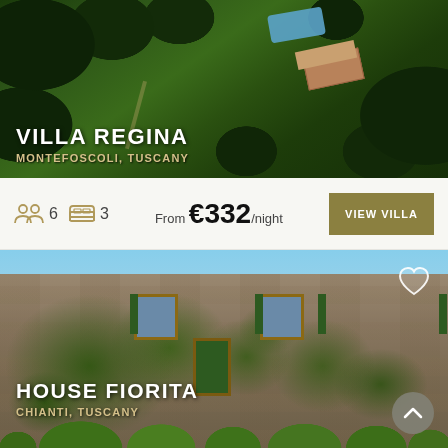[Figure (photo): Aerial view of Villa Regina surrounded by trees with a swimming pool visible, Montefoscoli, Tuscany]
VILLA REGINA
MONTEFOSCOLI, TUSCANY
6 guests, 3 bedrooms, From €332/night
VIEW VILLA
[Figure (photo): Stone farmhouse covered in ivy with green shuttered windows and manicured bushes, Chianti, Tuscany]
HOUSE FIORITA
CHIANTI, TUSCANY